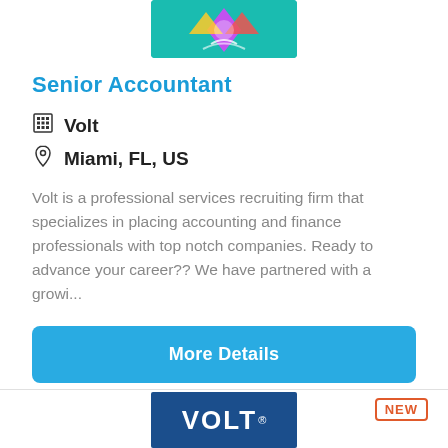[Figure (logo): Company logo with colorful shapes on teal background]
Senior Accountant
Volt
Miami, FL, US
Volt is a professional services recruiting firm that specializes in placing accounting and finance professionals with top notch companies. Ready to advance your career?? We have partnered with a growi...
More Details
NEW
[Figure (logo): VOLT blue logo on dark blue background]